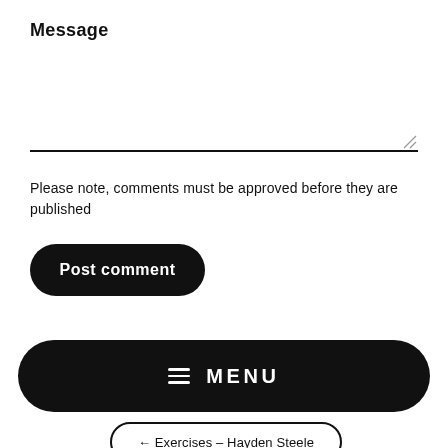Message
Please note, comments must be approved before they are published
Post comment
≡  MENU
← Exercises – Hayden Steele